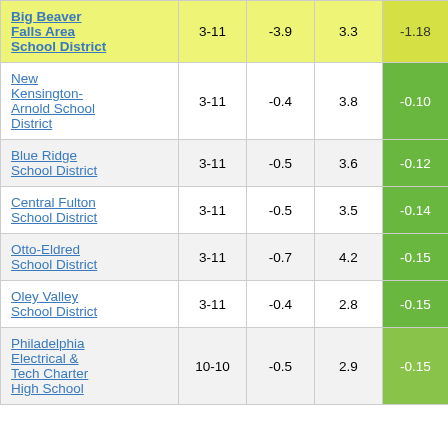| School District | Grades | Col3 | Col4 | Col5 |
| --- | --- | --- | --- | --- |
| Big Beaver Falls Area School District | 3-11 | -3.9 | 3.3 | -1.18 |
| New Kensington-Arnold School District | 3-11 | -0.4 | 3.8 | -0.10 |
| Blue Ridge School District | 3-11 | -0.5 | 3.6 | -0.12 |
| Central Fulton School District | 3-11 | -0.5 | 3.5 | -0.14 |
| Otto-Eldred School District | 3-11 | -0.7 | 4.2 | -0.15 |
| Oley Valley School District | 3-11 | -0.4 | 2.8 | -0.15 |
| Philadelphia Electrical & Tech Charter High School | 10-10 | -0.5 | 2.9 | -0.15 |